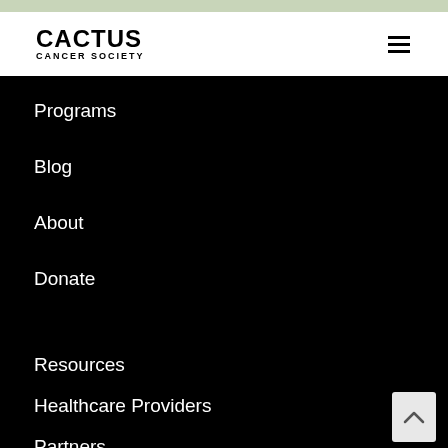CACTUS
CANCER SOCIETY
Programs
Blog
About
Donate
Resources
Healthcare Providers
Partners
Why Young Adults?